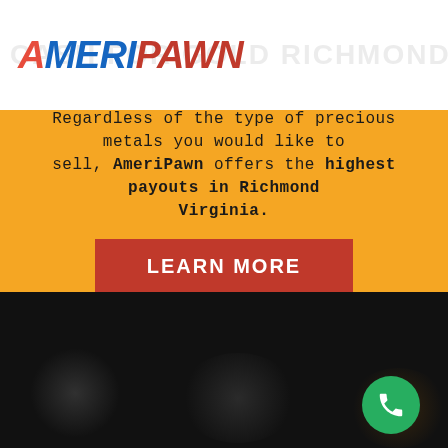[Figure (logo): AmeriPawn logo with blue 'AMERI' and red 'PAWN' text in bold italic, with watermark text 'CASH FOR GOLD RICHMOND VIRGINIA' in background]
Regardless of the type of precious metals you would like to sell, AmeriPawn offers the highest payouts in Richmond Virginia.
LEARN MORE
[Figure (photo): Dark background image with blurred bokeh lighting effects, green phone call button in bottom right corner]